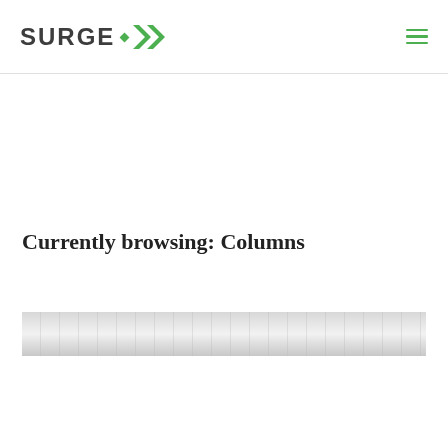SURGE >> [logo with hamburger menu]
Currently browsing: Columns
[Figure (photo): A horizontal thumbnail strip image, blurred/muted, showing faint vertical columns or figures in grayscale tones]